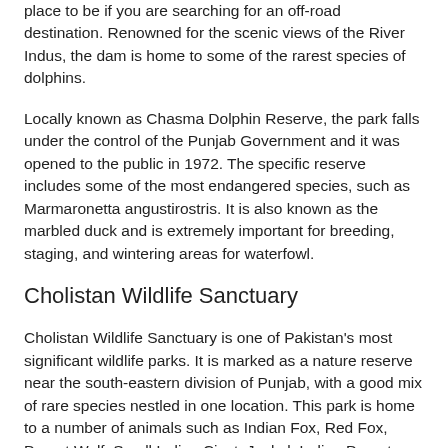place to be if you are searching for an off-road destination. Renowned for the scenic views of the River Indus, the dam is home to some of the rarest species of dolphins.
Locally known as Chasma Dolphin Reserve, the park falls under the control of the Punjab Government and it was opened to the public in 1972. The specific reserve includes some of the most endangered species, such as Marmaronetta angustirostris. It is also known as the marbled duck and is extremely important for breeding, staging, and wintering areas for waterfowl.
Cholistan Wildlife Sanctuary
Cholistan Wildlife Sanctuary is one of Pakistan's most significant wildlife parks. It is marked as a nature reserve near the south-eastern division of Punjab, with a good mix of rare species nestled in one location. This park is home to a number of animals such as Indian Fox, Red Fox, Desert Wolf, Small Indian Civet, Jackal, Indian Desert Cat, and Indian Mongoose.
Many wild cats, such as Chinkara gazelle, Nilgai antelope,